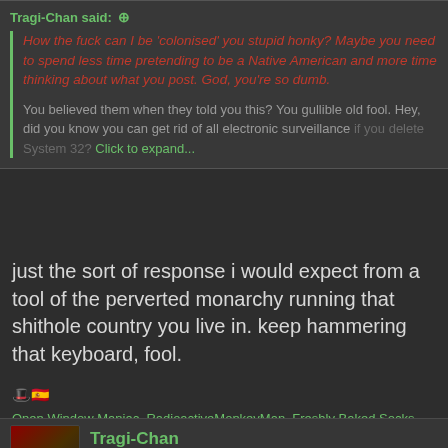Tragi-Chan said: ↑
How the fuck can I be 'colonised' you stupid honky? Maybe you need to spend less time pretending to be a Native American and more time thinking about what you post. God, you're so dumb.
You believed them when they told you this? You gullible old fool. Hey, did you know you can get rid of all electronic surveillance if you delete System 32?
Click to expand...
just the sort of response i would expect from a tool of the perverted monarchy running that shithole country you live in. keep hammering that keyboard, fool.
Open Window Maniac, RadioactiveMonkeyMan, Freshly Baked Socks and 2 others
Tragi-Chan
A thousand years old
kiwifarms.net